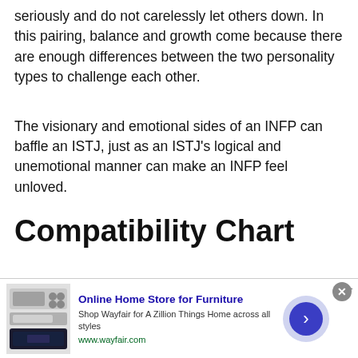seriously and do not carelessly let others down. In this pairing, balance and growth come because there are enough differences between the two personality types to challenge each other.
The visionary and emotional sides of an INFP can baffle an ISTJ, just as an ISTJ's logical and unemotional manner can make an INFP feel unloved.
Compatibility Chart
[Figure (other): Online advertisement banner for Wayfair furniture store showing kitchen appliance images, ad title 'Online Home Store for Furniture', description text, URL www.wayfair.com, close button, and navigation arrow.]